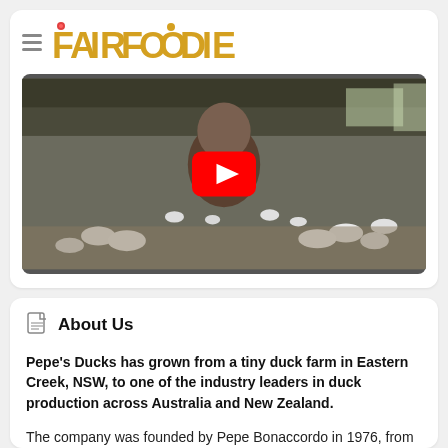[Figure (logo): FairFoodie logo with golden/yellow stylized text and small icons]
[Figure (screenshot): YouTube video thumbnail showing a man standing in a large duck farm building with hundreds of white ducks, with a red YouTube play button in the center]
About Us
Pepe's Ducks has grown from a tiny duck farm in Eastern Creek, NSW, to one of the industry leaders in duck production across Australia and New Zealand.
The company was founded by Pepe Bonaccordo in 1976, from